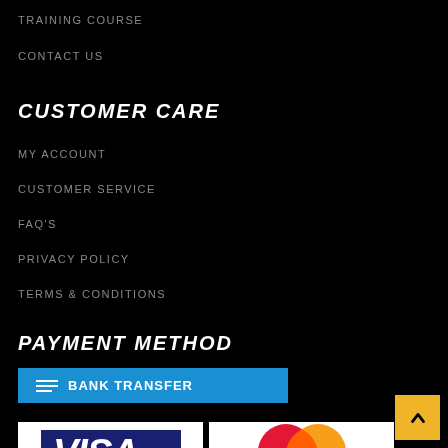TRAINING COURSE
CONTACT US
CUSTOMER CARE
MY ACCOUNT
CUSTOMER SERVICE
FAQ'S
PRIVACY POLICY
TERMS & CONDITIONS
PAYMENT METHOD
[Figure (logo): Bank Transfer button with blue background and horizontal lines icon]
[Figure (logo): Visa and MasterCard payment logos]